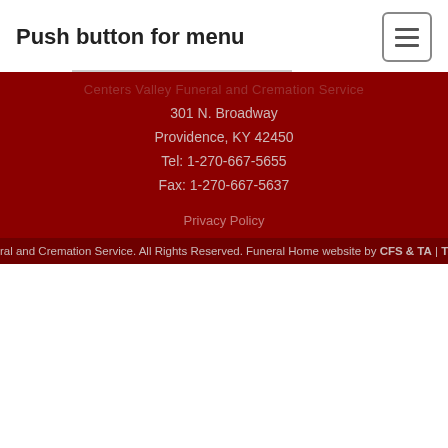Push button for menu
301 N. Broadway
Providence, KY 42450
Tel: 1-270-667-5655
Fax: 1-270-667-5637
Privacy Policy
ral and Cremation Service. All Rights Reserved. Funeral Home website by CFS & TA | Terms of Use | P